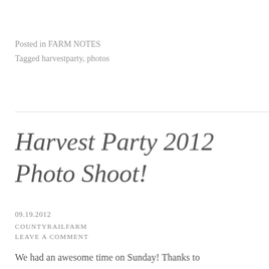Posted in FARM NOTES
Tagged harvestparty, photos
Harvest Party 2012 Photo Shoot!
09.19.2012
COUNTYRAILFARM
LEAVE A COMMENT
We had an awesome time on Sunday! Thanks to